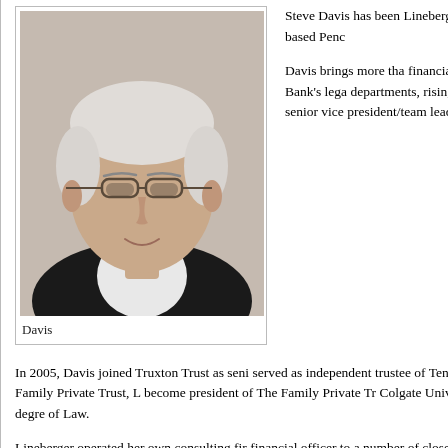[Figure (photo): Headshot photo of Steve Davis, an older white-haired man wearing glasses and a dark suit with white shirt, smiling]
Davis
Steve Davis has been Lineberger has been n Nashville-based Penc
Davis brings more tha financial services, ha National Bank's lega departments, rising to National Bank, later S senior vice president/team leader of the ban
In 2005, Davis joined Truxton Trust as seni served as independent trustee of Tennessee' trust company, The Family Private Trust, L become president of The Family Private Tr Colgate University, he earned his law degre of Law.
Lineberger operated her own consulting fir financial officer to a number of closely-hel businesses in Middle Tennessee. Prior to tha Network, PLLC, a large multi-location phy
Lineberger earned master of accountancy fr